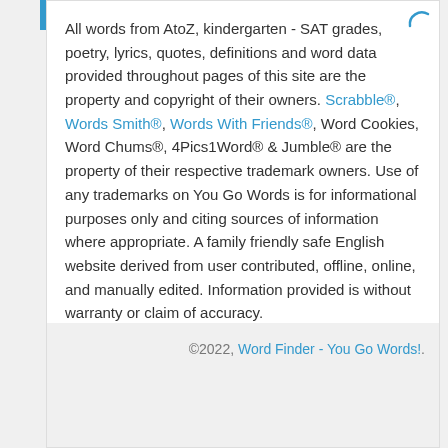All words from AtoZ, kindergarten - SAT grades, poetry, lyrics, quotes, definitions and word data provided throughout pages of this site are the property and copyright of their owners. Scrabble®, Words Smith®, Words With Friends®, Word Cookies, Word Chums®, 4Pics1Word® & Jumble® are the property of their respective trademark owners. Use of any trademarks on You Go Words is for informational purposes only and citing sources of information where appropriate. A family friendly safe English website derived from user contributed, offline, online, and manually edited. Information provided is without warranty or claim of accuracy.
©2022, Word Finder - You Go Words!.